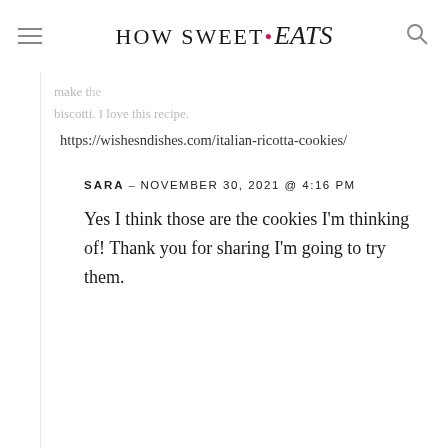HOW SWEET • eats
https://wishesndishes.com/italian-ricotta-cookies/
SARA – NOVEMBER 30, 2021 @ 4:16 PM
Yes I think those are the cookies I'm thinking of! Thank you for sharing I'm going to try them.